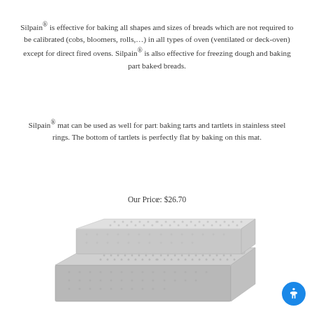Silpain® is effective for baking all shapes and sizes of breads which are not required to be calibrated (cobs, bloomers, rolls,…) in all types of oven (ventilated or deck-oven) except for direct fired ovens. Silpain® is also effective for freezing dough and baking part baked breads.
Silpain® mat can be used as well for part baking tarts and tartlets in stainless steel rings. The bottom of tartlets is perfectly flat by baking on this mat.
Our Price: $26.70
[Figure (photo): Two stainless steel perforated baking trays/mats stacked on top of each other, showing a textured grid surface.]